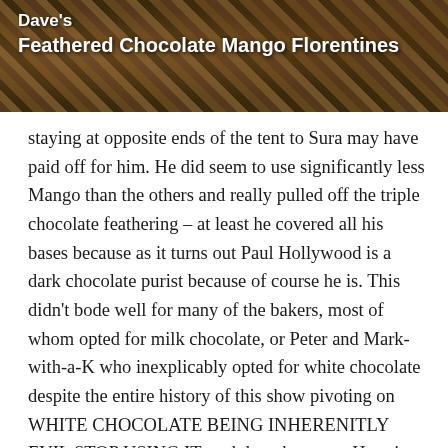[Figure (photo): Header image showing feathered chocolate Florentines with a decorative leaf/feathered chocolate pattern in brown tones, with text overlay reading 'Dave's Feathered Chocolate Mango Florentines']
staying at opposite ends of the tent to Sura may have paid off for him. He did seem to use significantly less Mango than the others and really pulled off the triple chocolate feathering – at least he covered all his bases because as it turns out Paul Hollywood is a dark chocolate purist because of course he is. This didn't bode well for many of the bakers, most of whom opted for milk chocolate, or Peter and Mark-with-a-K who inexplicably opted for white chocolate despite the entire history of this show pivoting on WHITE CHOCOLATE BEING INHERENITLY EVIL STOP USING IT, and then there was Hermine and Marc-with-a-C who decided to go very modern with their ruby chocolate backing (we'll get to Rowan using modelling chocolate in a minute). Peter at least manages to claw back some points with probably the most unique